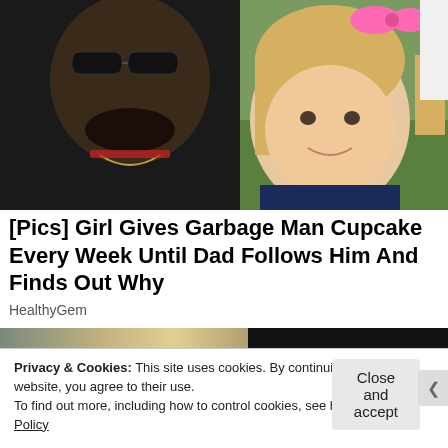[Figure (photo): A smiling man with sunglasses and a beard posing cheek-to-cheek with a small blonde toddler girl wearing a pink bow, outdoors with grass in background.]
[Pics] Girl Gives Garbage Man Cupcake Every Week Until Dad Follows Him And Finds Out Why
HealthyGem
[Figure (photo): Partial thumbnail images — left side shows an outdoor blurred image, right side shows a dark image with bokeh lights.]
Privacy & Cookies: This site uses cookies. By continuing to use this website, you agree to their use.
To find out more, including how to control cookies, see here: Cookie Policy
Close and accept